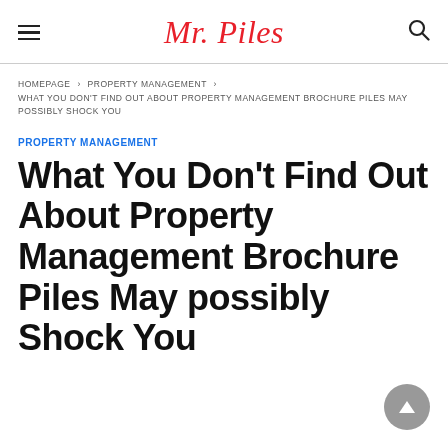Mr. Piles
HOMEPAGE > PROPERTY MANAGEMENT > WHAT YOU DON'T FIND OUT ABOUT PROPERTY MANAGEMENT BROCHURE PILES MAY POSSIBLY SHOCK YOU
PROPERTY MANAGEMENT
What You Don't Find Out About Property Management Brochure Piles May possibly Shock You